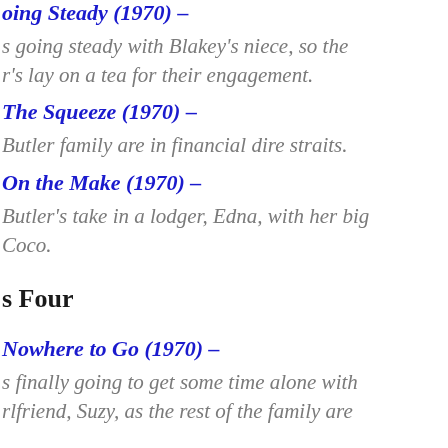Going Steady (1970) –
s going steady with Blakey's niece, so the r's lay on a tea for their engagement.
The Squeeze (1970) –
Butler family are in financial dire straits.
On the Make (1970) –
Butler's take in a lodger, Edna, with her big Coco.
s Four
Nowhere to Go (1970) –
s finally going to get some time alone with rlfriend, Suzy, as the rest of the family are